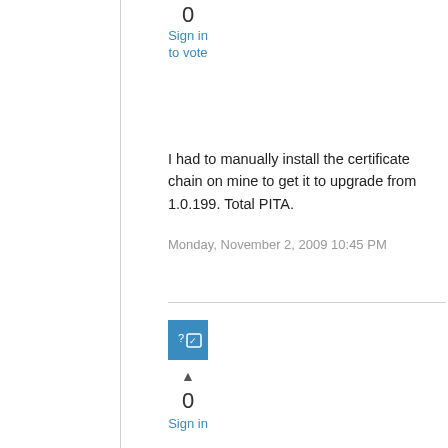0
Sign in to vote
I had to manually install the certificate chain on mine to get it to upgrade from 1.0.199.  Total PITA.
Monday, November 2, 2009 10:45 PM
[Figure (illustration): Blue square avatar icon with question mark and checkmark symbols]
0
Sign in